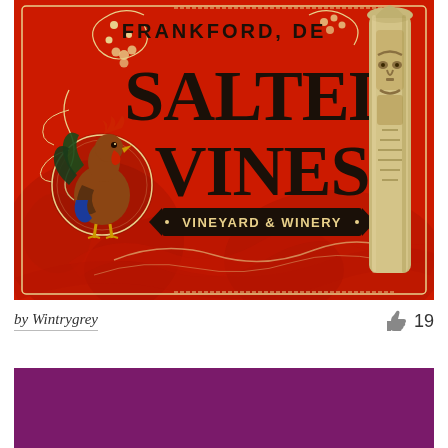[Figure (illustration): Salted Vines Vineyard & Winery logo on red background. Features large bold text 'FRANKFORD, DE' at top, 'SALTED VINES' in large decorative serif font, 'VINEYARD & WINERY' in a banner below. Left side has a rooster illustration in a circular frame with decorative vine motifs. Right side has a carved totem pole/stone face figure. Background is deep red with darker red decorative floral/vine patterns.]
by Wintrygrey
[Figure (illustration): Solid purple/magenta colored rectangle, partial view of a second image below the attribution row.]